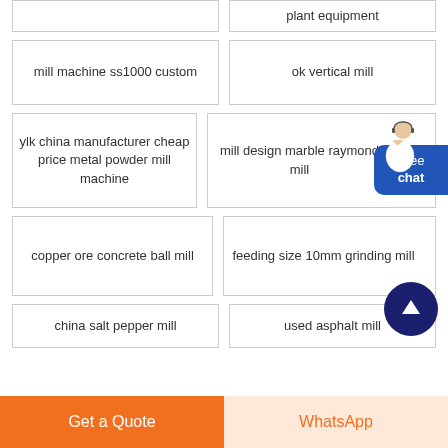(partial top left cell - plant equipment related)
plant equipment
mill machine ss1000 custom
ok vertical mill
ylk china manufacturer cheap price metal powder mill machine
mill design marble raymond mill
copper ore concrete ball mill
feeding size 10mm grinding mill
china salt pepper mill
used asphalt mill
Get a Quote
WhatsApp